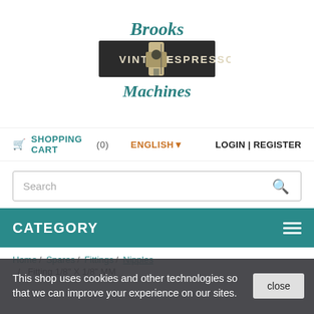[Figure (logo): Brooks Vintage Espresso Machines logo with teal script text 'Brooks' and 'Machines' and a dark banner reading 'VINTAGE ESPRESSO' with an espresso machine illustration]
🛒 SHOPPING CART (0)   ENGLISH▾   LOGIN | REGISTER
Search
CATEGORY
Home / Spares / Fittings / Nipples / Fitting 1/8" X 1/8" MM
This shop uses cookies and other technologies so that we can improve your experience on our sites.
close